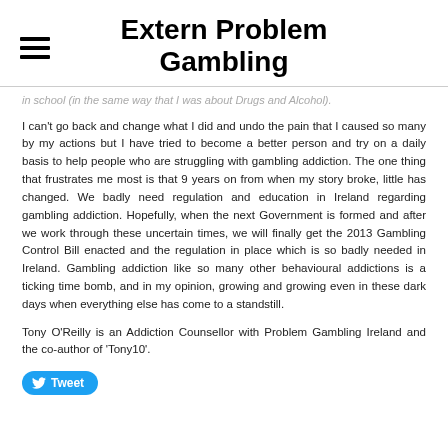Extern Problem Gambling
in school (in the same way that I was about Drugs and Alcohol).
I can't go back and change what I did and undo the pain that I caused so many by my actions but I have tried to become a better person and try on a daily basis to help people who are struggling with gambling addiction. The one thing that frustrates me most is that 9 years on from when my story broke, little has changed. We badly need regulation and education in Ireland regarding gambling addiction. Hopefully, when the next Government is formed and after we work through these uncertain times, we will finally get the 2013 Gambling Control Bill enacted and the regulation in place which is so badly needed in Ireland. Gambling addiction like so many other behavioural addictions is a ticking time bomb, and in my opinion, growing and growing even in these dark days when everything else has come to a standstill.
Tony O'Reilly is an Addiction Counsellor with Problem Gambling Ireland and the co-author of 'Tony10'.
[Figure (other): Tweet button in blue rounded rectangle with Twitter bird icon]